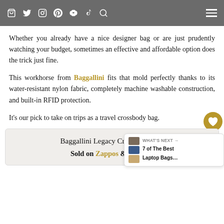[navigation icons: bag, twitter, instagram, pinterest, youtube, tiktok, search] [hamburger menu]
Whether you already have a nice designer bag or are just prudently watching your budget, sometimes an effective and affordable option does the trick just fine.
This workhorse from Baggallini fits that mold perfectly thanks to its water-resistant nylon fabric, completely machine washable construction, and built-in RFID protection.
It’s our pick to take on trips as a travel crossbody bag.
Baggallini Legacy Crossbody B…
Sold on Zappos & Amazon